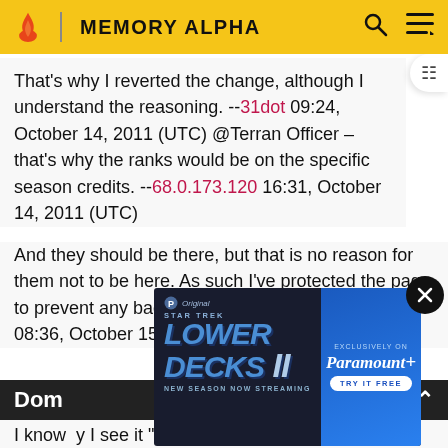MEMORY ALPHA
That's why I reverted the change, although I understand the reasoning. --31dot 09:24, October 14, 2011 (UTC) @Terran Officer – that's why the ranks would be on the specific season credits. --68.0.173.120 16:31, October 14, 2011 (UTC)
And they should be there, but that is no reason for them not to be here. As such I've protected the page to prevent any back-and-forth edit warring.--31dot 08:36, October 15, 2011 (UTC)
Dom
[Figure (screenshot): Advertisement for Star Trek Lower Decks new season, exclusively on Paramount+. Shows 'Star Trek Lower Decks II New Season Now Streaming' with Paramount+ logo and 'Try It Free' button.]
I know ... y I see it "the Changelings, the Vorta, and the Jem'Hadar, who